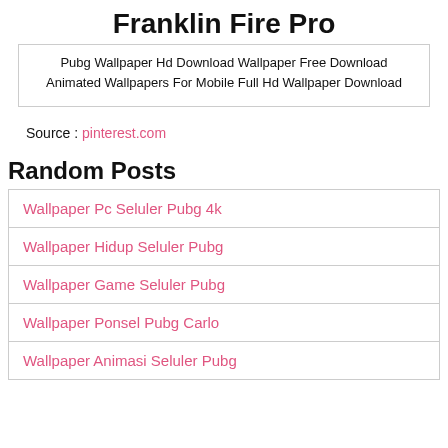Franklin Fire Pro
Pubg Wallpaper Hd Download Wallpaper Free Download Animated Wallpapers For Mobile Full Hd Wallpaper Download
Source : pinterest.com
Random Posts
Wallpaper Pc Seluler Pubg 4k
Wallpaper Hidup Seluler Pubg
Wallpaper Game Seluler Pubg
Wallpaper Ponsel Pubg Carlo
Wallpaper Animasi Seluler Pubg